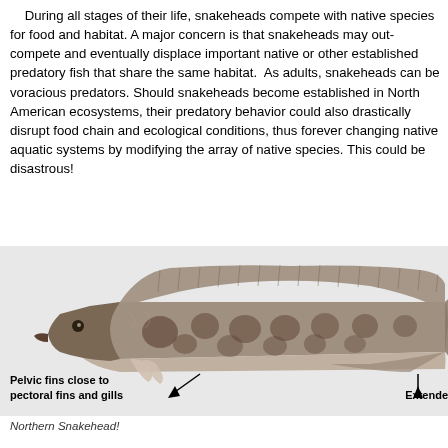During all stages of their life, snakeheads compete with native species for food and habitat. A major concern is that snakeheads may out-compete and eventually displace important native or other established predatory fish that share the same habitat. As adults, snakeheads can be voracious predators. Should snakeheads become established in North American ecosystems, their predatory behavior could also drastically disrupt food chain and ecological conditions, thus forever changing native aquatic systems by modifying the array of native species. This could be disastrous!
[Figure (photo): Photograph of a Northern Snakehead fish on a light gray background, shown in profile from head (left) to tail (right). The fish has a long, cylindrical body with a mottled brown and tan pattern. It has an extended dorsal fin running along its back and pelvic fins located close to the pectoral fins and gills. Two arrows point to anatomical features: one to the pelvic fins near the gills (labeled 'Pelvic fins close to pectoral fins and gills') and one to the extended dorsal fin on the right side (labeled 'Extended...').]
Northern Snakehead!